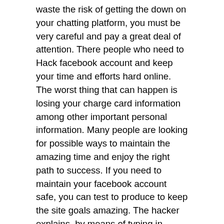waste the risk of getting the down on your chatting platform, you must be very careful and pay a great deal of attention. There people who need to Hack facebook account and keep your time and efforts hard online. The worst thing that can happen is losing your charge card information among other important personal information. Many people are looking for possible ways to maintain the amazing time and enjoy the right path to success. If you need to maintain your facebook account safe, you can test to produce to keep the site goals amazing. The hacker explains, by means of typing in Notepad, that it?s Facebook?s new security firewall that allows such comfortable access into private accounts. If it?s really easy to hack into Facebook, should people be suspicious from a photos or personal information they store from the site?Some users take advantage of the privacy options that come with Facebook, if only accepted friends are able to see their personal information. It?s reliable advice, don?t share anything of Facebook that you simply wouldn?t want the planet to determine!Is it weird that you might go to a Facebook profile to see the eye as well as the past messages of your person who has gone by on?To boost the comfort it really is type of odd to me, but I guess some feel it is a easy way to hold the memory of the people alive and provides people to be